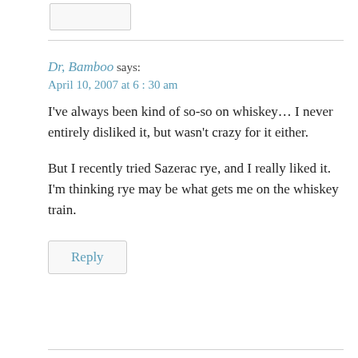Dr, Bamboo says:
April 10, 2007 at 6:30 am
I've always been kind of so-so on whiskey… I never entirely disliked it, but wasn't crazy for it either.
But I recently tried Sazerac rye, and I really liked it. I'm thinking rye may be what gets me on the whiskey train.
Reply